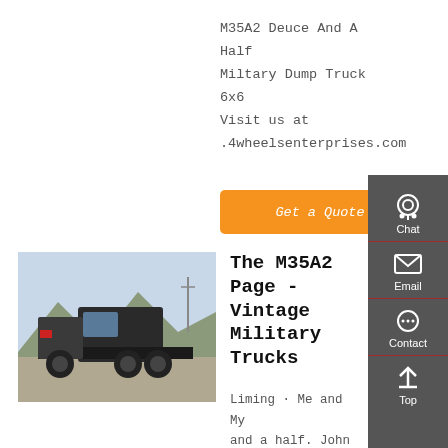M35A2 Deuce And A Half Miltary Dump Truck 6x6 Visit us at .4wheelsenterprises.com
Get a Quote
[Figure (photo): Military truck / heavy duty 6x6 truck parked outdoors with mountains in background]
The M35A2 Page - Vintage Military Trucks
Liming · Me and My  and a half. John Colw  and his 1967 M35A2  Kaiser Jeep Corporation  6x6 2 1/2 Ton Cargo